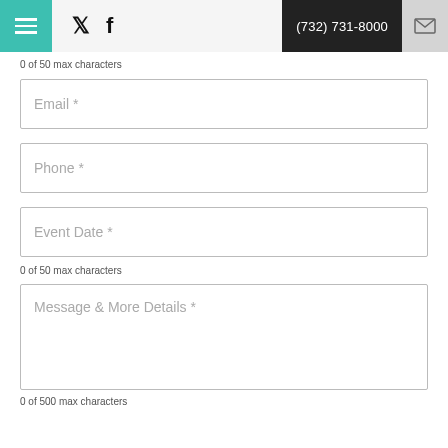Navigation bar with hamburger menu, Twitter and Facebook icons, phone number (732) 731-8000, and mail icon
0 of 50 max characters
Email *
Phone *
Event Date *
0 of 50 max characters
Message & More Details *
0 of 500 max characters